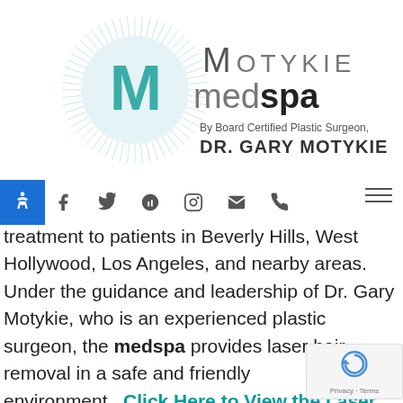[Figure (logo): Motykie MedSpa logo with circular starburst background, teal M letter, text 'MOTYKIE medspa By Board Certified Plastic Surgeon, DR. GARY MOTYKIE']
Navigation bar with social icons: Facebook, Twitter, Yelp, Instagram, Email, Phone, and hamburger menu. Accessibility button on left.
treatment to patients in Beverly Hills, West Hollywood, Los Angeles, and nearby areas. Under the guidance and leadership of Dr. Gary Motykie, who is an experienced plastic surgeon, the medspa provides laser hair removal in a safe and friendly environment.  Click Here to View the Laser Removal Before and After Photo Gallery